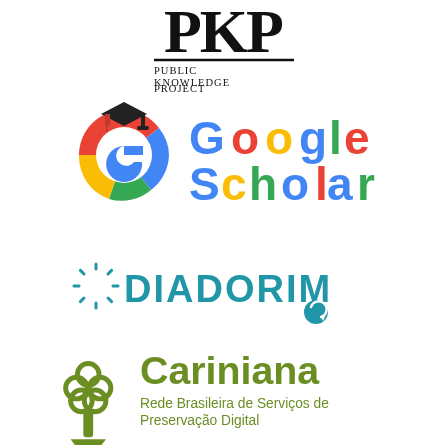[Figure (logo): PKP Public Knowledge Project logo — stylized PKP letters in serif font with a horizontal line beneath, followed by text PUBLIC KNOWLEDGE PROJECT]
[Figure (logo): Google Scholar logo — colorful G letter with graduation cap, next to Google Scholar text in blue and green]
[Figure (logo): Diadorim logo — blue sunburst/dashed circle icon followed by DIADORIM text in teal/blue uppercase letters and a circular arrow icon]
[Figure (logo): Cariniana logo — olive green tree/knot emblem followed by Cariniana text and subtitle Rede Brasileira de Serviços de Preservação Digital in olive green]